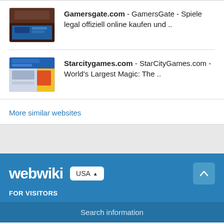[Figure (screenshot): Thumbnail screenshot of Gamersgate.com website]
Gamersgate.com - GamersGate - Spiele legal offiziell online kaufen und ..
[Figure (screenshot): Thumbnail screenshot of Starcitygames.com website]
Starcitygames.com - StarCityGames.com - World's Largest Magic: The ..
More similar websites
[Figure (logo): webwiki logo with USA country selector button and scroll-to-top button]
FOR VISITORS
Search information